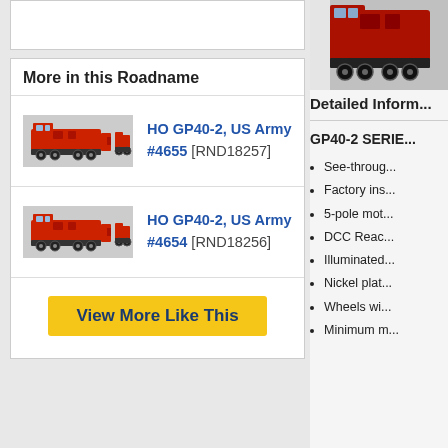More in this Roadname
[Figure (photo): Red US Army HO GP40-2 locomotive model, side view]
HO GP40-2, US Army #4655 [RND18257]
[Figure (photo): Red US Army HO GP40-2 locomotive model, side view]
HO GP40-2, US Army #4654 [RND18256]
View More Like This
[Figure (photo): Product photo of locomotive model, partially visible]
Detailed Inform...
GP40-2 SERIE...
See-throug...
Factory ins...
5-pole mot...
DCC Reac...
Illuminated...
Nickel plat...
Wheels wi...
Minimum m...